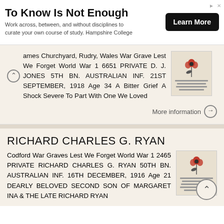[Figure (screenshot): Advertisement banner: 'To Know Is Not Enough' - Hampshire College ad with Learn More button]
ames Churchyard, Rudry, Wales War Grave Lest We Forget World War 1 6651 PRIVATE D. J. JONES 5TH BN. AUSTRALIAN INF. 21ST SEPTEMBER, 1918 Age 34 A Bitter Grief A Shock Severe To Part With One We Loved
More information →
RICHARD CHARLES G. RYAN
Codford War Graves Lest We Forget World War 1 2465 PRIVATE RICHARD CHARLES G. RYAN 50TH BN. AUSTRALIAN INF. 16TH DECEMBER, 1916 Age 21 DEARLY BELOVED SECOND SON OF MARGARET INA & THE LATE RICHARD RYAN